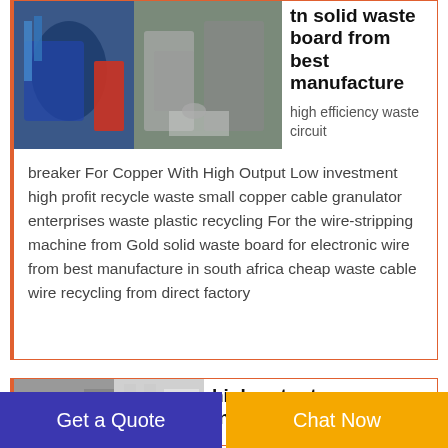[Figure (photo): Industrial waste processing/cable granulator machinery in a factory setting with blue and red equipment]
tn solid waste board from best manufacture
high efficiency waste circuit breaker For Copper With High Output Low investment high profit recycle waste small copper cable granulator enterprises waste plastic recycling For the wire-stripping machine from Gold solid waste board for electronic wire from best manufacture in south africa cheap waste cable wire recycling from direct factory
[Figure (photo): Industrial building exterior with grey walls and pipes]
high output tn solid
Get a Quote
Chat Now